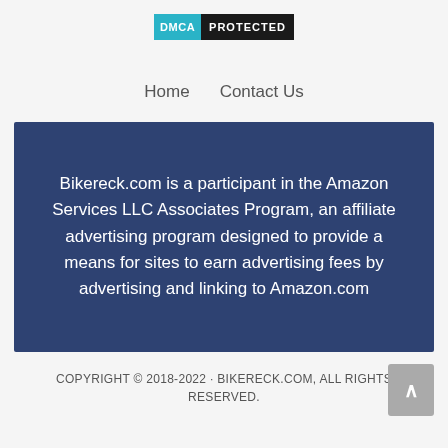[Figure (logo): DMCA PROTECTED badge: teal 'DMCA' label on left, black 'PROTECTED' label on right]
Home   Contact Us
Bikereck.com is a participant in the Amazon Services LLC Associates Program, an affiliate advertising program designed to provide a means for sites to earn advertising fees by advertising and linking to Amazon.com
COPYRIGHT © 2018-2022 · BIKERECK.COM, ALL RIGHTS RESERVED.